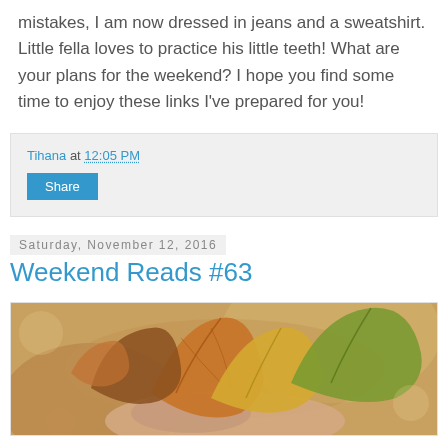mistakes, I am now dressed in jeans and a sweatshirt. Little fella loves to practice his little teeth! What are your plans for the weekend? I hope you find some time to enjoy these links I've prepared for you!
Tihana at 12:05 PM
Share
Saturday, November 12, 2016
Weekend Reads #63
[Figure (photo): Hands holding autumn leaves - orange, yellow and green maple leaves held up against a blurred background]